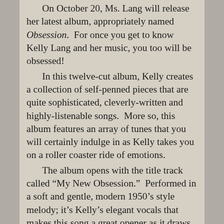On October 20, Ms. Lang will release her latest album, appropriately named Obsession. For once you get to know Kelly Lang and her music, you too will be obsessed!

In this twelve-cut album, Kelly creates a collection of self-penned pieces that are quite sophisticated, cleverly-written and highly-listenable songs. More so, this album features an array of tunes that you will certainly indulge in as Kelly takes you on a roller coaster ride of emotions.

The album opens with the title track called “My New Obsession.” Performed in a soft and gentle, modern 1950’s style melody; it’s Kelly’s elegant vocals that makes this song a great opener as it draws you into this album as it makes you demand more!

What makes Ms. Lang’s music so sculpted is that she has this unique ability to capture the best of country music’s styles and creatively incorporates them into her songs. A great